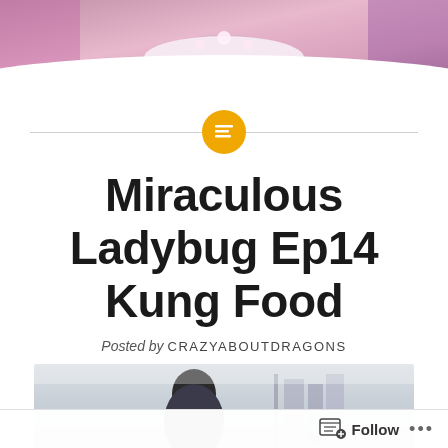[Figure (photo): Top banner photo showing animated scene with pink and purple decorative elements, cake-like shape in center with lights]
[Figure (infographic): Orange circular icon with white list/text lines symbol, with horizontal gray separator lines on either side]
Miraculous Ladybug Ep14 Kung Food
Posted by CRAZYABOUTDRAGONS
[Figure (photo): Bottom photo showing a person with dark hair in an indoor setting with bookshelves visible]
Follow ...